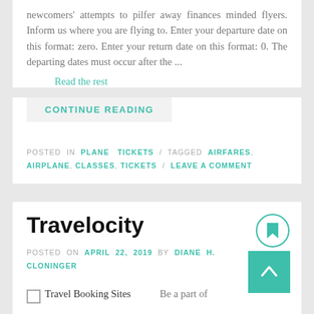newcomers' attempts to pilfer away finances minded flyers. Inform us where you are flying to. Enter your departure date on this format: zero. Enter your return date on this format: 0. The departing dates must occur after the ...
Read the rest
CONTINUE READING
POSTED IN PLANE TICKETS / TAGGED AIRFARES, AIRPLANE, CLASSES, TICKETS / LEAVE A COMMENT
Travelocity
POSTED ON APRIL 22, 2019 BY DIANE H. CLONINGER
Travel Booking Sites
Be a part of